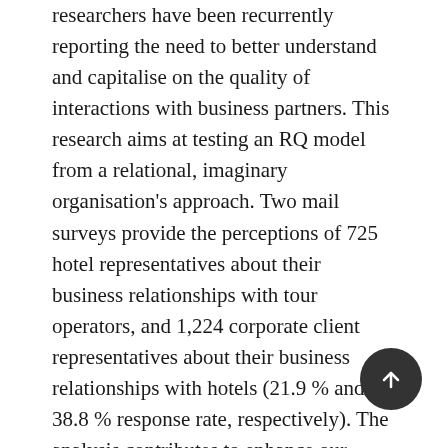researchers have been recurrently reporting the need to better understand and capitalise on the quality of interactions with business partners. This research aims at testing an RQ model from a relational, imaginary organisation's approach. Two mail surveys provide the perceptions of 725 hotel representatives about their business relationships with tour operators, and 1,224 corporate client representatives about their business relationships with hotels (21.9 % and 38.8 % response rate, respectively). The analysis contributes to enhance our understanding on the linkages between RQ and its determinants, and identifies the role of their dimensions. Structural equation modelling results highlight trust as the dominant dimension, the crucial role of commitment and satisfaction, and suggest customer orientation as complementary building block. Findings also emphasise problem solving